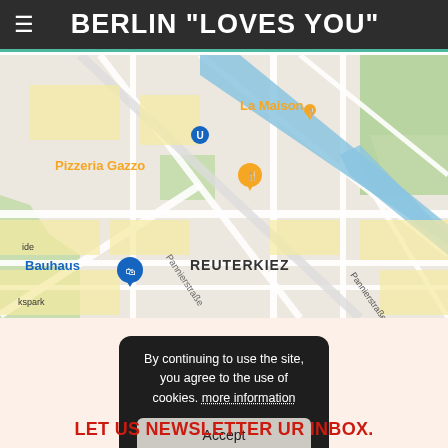BERLIN "LOVES YOU"
[Figure (map): Google Maps screenshot showing Reuterkiez neighborhood in Berlin, with markers for La Maison and Pizzeria Gazzo restaurants, a Bauhaus store, street names including Pannierstraße, Glogauer Str., Wildenbruchstr., and a U-Bahn station marker.]
By continuing to use the site, you agree to the use of cookies. more information
Accept
LET US NEWSLETTER UR INBOX.